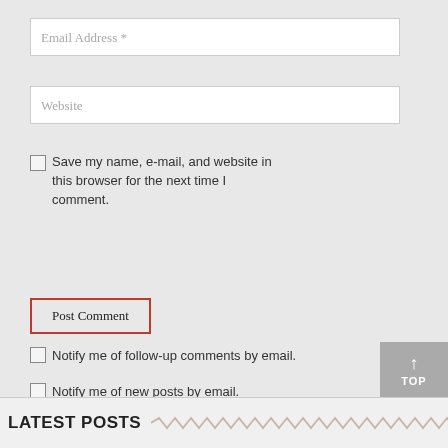Email Address *
Website
Save my name, e-mail, and website in this browser for the next time I comment.
Post Comment
Notify me of follow-up comments by email.
Notify me of new posts by email.
LATEST POSTS